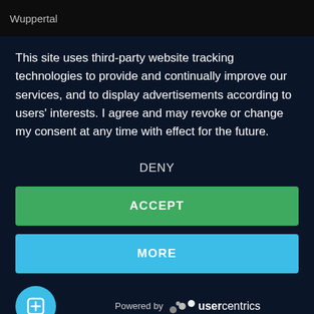Wuppertal
This site uses third-party website tracking technologies to provide and continually improve our services, and to display advertisements according to users' interests. I agree and may revoke or change my consent at any time with effect for the future.
DENY
ACCEPT
MORE
Powered by usercentrics